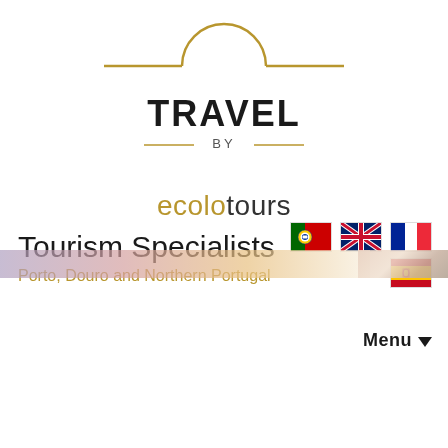[Figure (logo): Travel by ecolotours logo: an arch/semicircle with horizontal lines on each side, text TRAVEL in large caps, BY below it, and ecolotours in mixed color below that.]
Tourism Specialists
Porto, Douro and Northern Portugal
[Figure (illustration): Four country flag icons: Portuguese flag, UK flag (Union Jack), French flag, Spanish flag]
Menu ▼
[Figure (illustration): Horizontal decorative banner strip with a gradient from purple/pink/gold on the left fading to a warm photo-like image on the right]